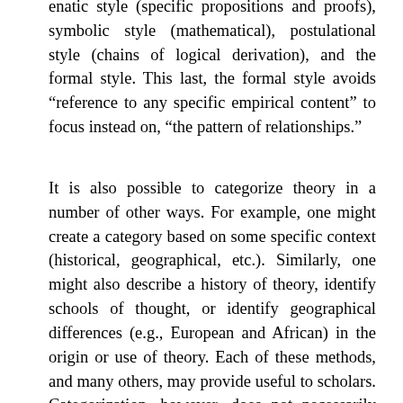enatic style (specific propositions and proofs), symbolic style (mathematical), postulational style (chains of logical derivation), and the formal style. This last, the formal style avoids “reference to any specific empirical content” to focus instead on, “the pattern of relationships.”
It is also possible to categorize theory in a number of other ways. For example, one might create a category based on some specific context (historical, geographical, etc.). Similarly, one might also describe a history of theory, identify schools of thought, or identify geographical differences (e.g., European and African) in the origin or use of theory. Each of these methods, and many others, may provide useful to scholars. Categorization, however, does not necessarily require a deep engagement with the theories under analysis (although, of course, it might). For example, one might engage in a metatheoretical categorization